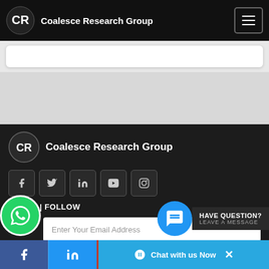Coalesce Research Group
[Figure (screenshot): White card area on light gray background]
[Figure (logo): Coalesce Research Group footer logo with circular CRG icon]
SHARE | FOLLOW
Enter Your Email Address
SUBSCRIBE NOW
HAVE QUESTION? LEAVE A MESSAGE
Chat with us Now